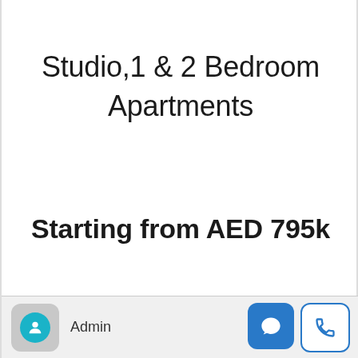Studio,1 & 2 Bedroom Apartments
Starting from AED 795k
Admin